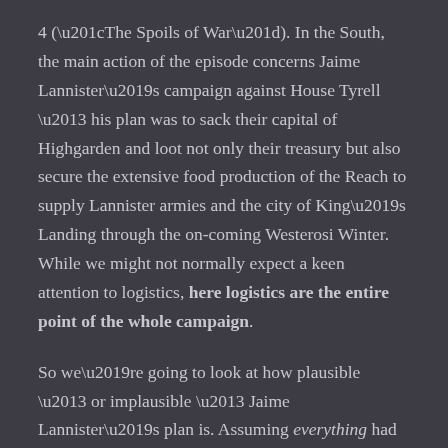4 (“The Spoils of War”). In the South, the main action of the episode concerns Jaime Lannister’s campaign against House Tyrell – his plan was to sack their capital of Highgarden and loot not only their treasury but also secure the extensive food production of the Reach to supply Lannister armies and the city of King’s Landing through the on-coming Westerosi Winter. While we might not normally expect a keen attention to logistics, here logistics are the entire point of the whole campaign.
So we’re going to look at how plausible – or implausible – Jaime Lannister’s plan is. Assuming everything had gone right – could this plan have ever worked?